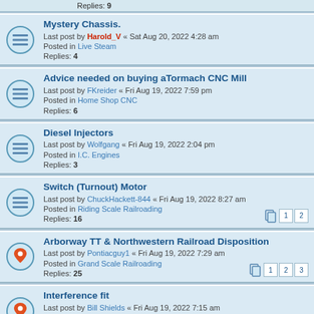Replies: 9
Mystery Chassis. Last post by Harold_V « Sat Aug 20, 2022 4:28 am Posted in Live Steam Replies: 4
Advice needed on buying aTormach CNC Mill Last post by FKreider « Fri Aug 19, 2022 7:59 pm Posted in Home Shop CNC Replies: 6
Diesel Injectors Last post by Wolfgang « Fri Aug 19, 2022 2:04 pm Posted in I.C. Engines Replies: 3
Switch (Turnout) Motor Last post by ChuckHackett-844 « Fri Aug 19, 2022 8:27 am Posted in Riding Scale Railroading Replies: 16 Pages: 1 2
Arborway TT & Northwestern Railroad Disposition Last post by Pontiacguy1 « Fri Aug 19, 2022 7:29 am Posted in Grand Scale Railroading Replies: 25 Pages: 1 2 3
Interference fit Last post by Bill Shields « Fri Aug 19, 2022 7:15 am Posted in General Discussion Replies: 25 Pages: 1 2 3
20 Ton Narrow Gauge Shay Last post by Pipescs « Thu Aug 18, 2022 8:49 pm Posted in Build Log